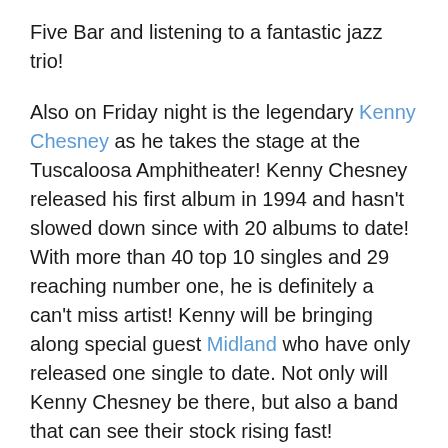Five Bar and listening to a fantastic jazz trio!
Also on Friday night is the legendary Kenny Chesney as he takes the stage at the Tuscaloosa Amphitheater! Kenny Chesney released his first album in 1994 and hasn't slowed down since with 20 albums to date! With more than 40 top 10 singles and 29 reaching number one, he is definitely a can't miss artist! Kenny will be bringing along special guest Midland who have only released one single to date. Not only will Kenny Chesney be there, but also a band that can see their stock rising fast!
Like every weekend, the Farmers Market will be taking place at the Tuscaloosa River Market Saturday morning! Vendors set up ripe red tomatoes and famous Chilton County peaches. Musicians sit propped up against the door, playing guitars as you walk in, and freshly brewed iced tea is for sale to help battle the heat! Additionally, local Food Trucks, bakers, artists, and craftsmen gather